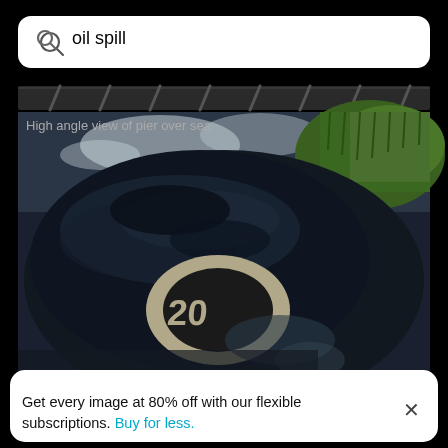[Figure (screenshot): Mobile search interface showing search bar with 'oil spill' query, a photo caption 'High angle view of pier over sea', and a main photo of a wet road surface with an oil spill reflection around a circular road marking showing '20', with green grass visible at the top right.]
oil spill
High angle view of pier over sea
Get every image at 80% off with our flexible subscriptions. Buy for less.